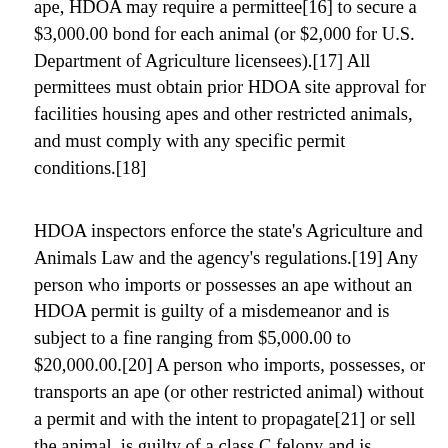ape, HDOA may require a permittee[16] to secure a $3,000.00 bond for each animal (or $2,000 for U.S. Department of Agriculture licensees).[17] All permittees must obtain prior HDOA site approval for facilities housing apes and other restricted animals, and must comply with any specific permit conditions.[18]
HDOA inspectors enforce the state's Agriculture and Animals Law and the agency's regulations.[19] Any person who imports or possesses an ape without an HDOA permit is guilty of a misdemeanor and is subject to a fine ranging from $5,000.00 to $20,000.00.[20] A person who imports, possesses, or transports an ape (or other restricted animal) without a permit and with the intent to propagate[21] or sell the animal, is guilty of a class C felony and is subject to a fine ranging from $50,000.00 to $200,000.00.[22] Anyone who violates any other provision of the Agriculture and Animals Law or HDOA regulations governing restricted animals is guilty of a misdemeanor and is subject to certain fines, which